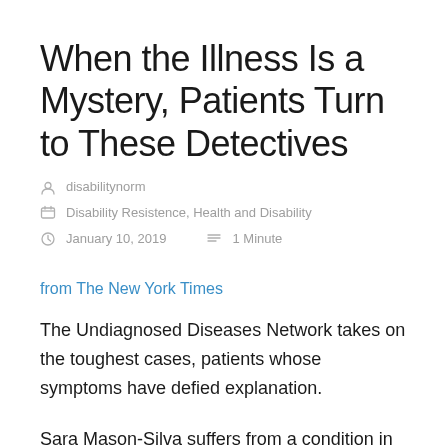When the Illness Is a Mystery, Patients Turn to These Detectives
disabilitynorm
Disability Resistence, Health and Disability
January 10, 2019    1 Minute
from The New York Times
The Undiagnosed Diseases Network takes on the toughest cases, patients whose symptoms have defied explanation.
Sara Mason-Silva suffers from a condition in which blood